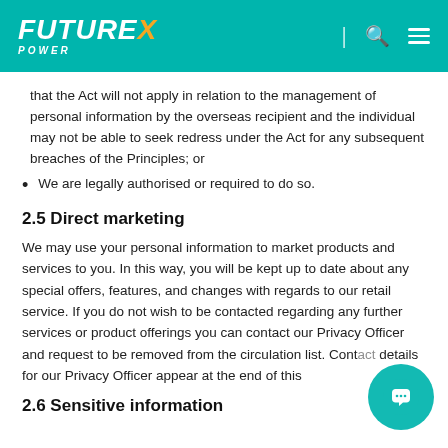FutureX Power
that the Act will not apply in relation to the management of personal information by the overseas recipient and the individual may not be able to seek redress under the Act for any subsequent breaches of the Principles; or
We are legally authorised or required to do so.
2.5 Direct marketing
We may use your personal information to market products and services to you. In this way, you will be kept up to date about any special offers, features, and changes with regards to our retail service. If you do not wish to be contacted regarding any further services or product offerings you can contact our Privacy Officer and request to be removed from the circulation list. Contact details for our Privacy Officer appear at the end of this
2.6 Sensitive information